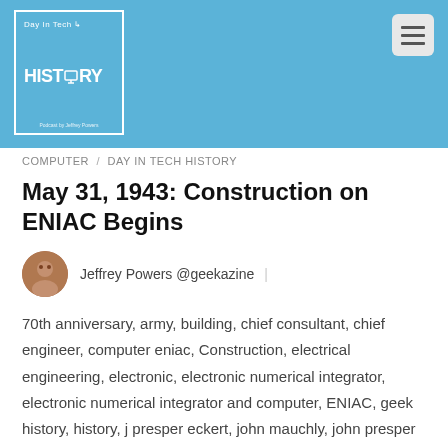[Figure (logo): Day in Tech History podcast logo — white bordered box with blue background, RSS arrow icon, monitor icon in HISTORY text, and 'Podcast by Jeffrey Powers' at bottom]
COMPUTER / DAY IN TECH HISTORY
May 31, 1943: Construction on ENIAC Begins
Jeffrey Powers @geekazine
70th anniversary, army, building, chief consultant, chief engineer, computer eniac, Construction, electrical engineering, electronic, electronic numerical integrator, electronic numerical integrator and computer, ENIAC, geek history, history, j presper eckert, john mauchly, john presper eckert, microsoft office xp, Moore School of Electrical Engineering, pirate bay, Podcast, police raid, project px, radio tubes, s moore, steve jobs